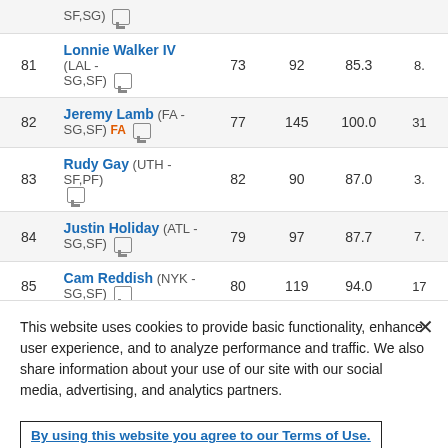| Rank | Player | Col3 | Col4 | Col5 | Col6 |
| --- | --- | --- | --- | --- | --- |
|  | (SF,SG) [icon] |  |  |  |  |
| 81 | Lonnie Walker IV (LAL - SG,SF) [icon] | 73 | 92 | 85.3 | 8. |
| 82 | Jeremy Lamb (FA - SG,SF) FA [icon] | 77 | 145 | 100.0 | 31 |
| 83 | Rudy Gay (UTH - SF,PF) [icon] | 82 | 90 | 87.0 | 3. |
| 84 | Justin Holiday (ATL - SG,SF) [icon] | 79 | 97 | 87.7 | 7. |
| 85 | Cam Reddish (NYK - SG,SF) [icon] | 80 | 119 | 94.0 | 17 |
This website uses cookies to provide basic functionality, enhance user experience, and to analyze performance and traffic. We also share information about your use of our site with our social media, advertising, and analytics partners.
By using this website you agree to our Terms of Use.
Do Not Sell My Personal Information
Accept Cookies